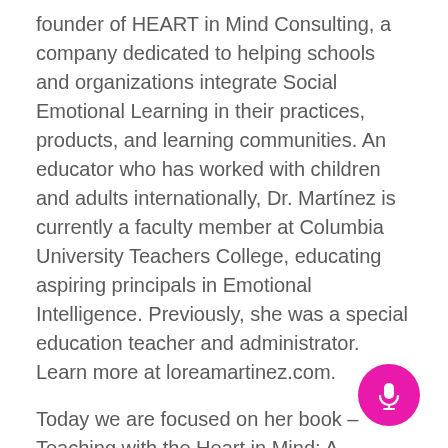founder of HEART in Mind Consulting, a company dedicated to helping schools and organizations integrate Social Emotional Learning in their practices, products, and learning communities. An educator who has worked with children and adults internationally, Dr. Martínez is currently a faculty member at Columbia University Teachers College, educating aspiring principals in Emotional Intelligence. Previously, she was a special education teacher and administrator. Learn more at loreamartinez.com.
Today we are focused on her book – Teaching with the Heart in Mind: A Complete Educator's Guide to Social Emotional Learning.
Thanks for listening!